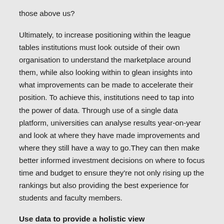those above us?
Ultimately, to increase positioning within the league tables institutions must look outside of their own organisation to understand the marketplace around them, while also looking within to glean insights into what improvements can be made to accelerate their position. To achieve this, institutions need to tap into the power of data. Through use of a single data platform, universities can analyse results year-on-year and look at where they have made improvements and where they still have a way to go.They can then make better informed investment decisions on where to focus time and budget to ensure they're not only rising up the rankings but also providing the best experience for students and faculty members.
Use data to provide a holistic view